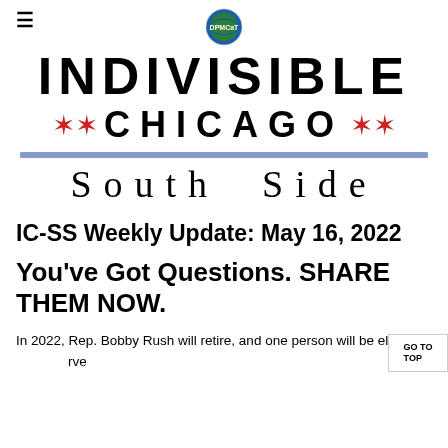☰ [DPMCaT logo] INDIVISIBLE ✶✶ CHICAGO ✶✶ South Side
IC-SS Weekly Update: May 16, 2022
You've Got Questions. SHARE THEM NOW.
In 2022, Rep. Bobby Rush will retire, and one person will be elected to serve